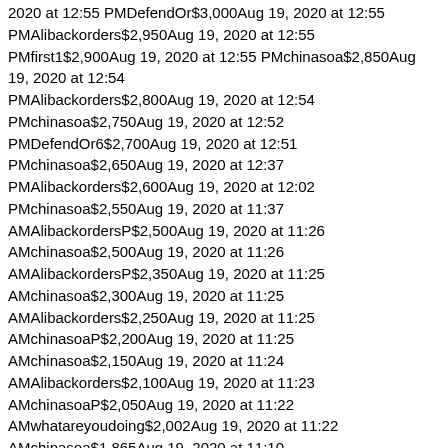2020 at 12:55 PMDefendOr$3,000Aug 19, 2020 at 12:55
PMAlibackorders$2,950Aug 19, 2020 at 12:55 PMfirst1$2,900Aug 19, 2020 at 12:55 PMchinasoa$2,850Aug 19, 2020 at 12:54
PMAlibackorders$2,800Aug 19, 2020 at 12:54
PMchinasoa$2,750Aug 19, 2020 at 12:52
PMDefendOr6$2,700Aug 19, 2020 at 12:51
PMchinasoa$2,650Aug 19, 2020 at 12:37
PMAlibackorders$2,600Aug 19, 2020 at 12:02
PMchinasoa$2,550Aug 19, 2020 at 11:37
AMAlibackordersP$2,500Aug 19, 2020 at 11:26
AMchinasoa$2,500Aug 19, 2020 at 11:26
AMAlibackordersP$2,350Aug 19, 2020 at 11:25
AMchinasoa$2,300Aug 19, 2020 at 11:25
AMAlibackorders$2,250Aug 19, 2020 at 11:25
AMchinasoaP$2,200Aug 19, 2020 at 11:25
AMchinasoa$2,150Aug 19, 2020 at 11:24
AMAlibackorders$2,100Aug 19, 2020 at 11:23
AMchinasoaP$2,050Aug 19, 2020 at 11:22
AMwhatareyoudoing$2,002Aug 19, 2020 at 11:22
AMchinasoa$1,865Aug 19, 2020 at 11:10